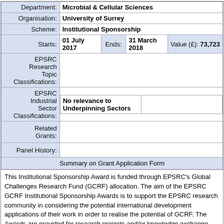| Field | Value |
| --- | --- |
| Department: | Microbial & Cellular Sciences |
| Organisation: | University of Surrey |
| Scheme: | Institutional Sponsorship |
| Starts: | 01 July 2017 | Ends: | 31 March 2018 | Value (£): | 73,723 |
| EPSRC Research Topic Classifications: |  |
| EPSRC Industrial Sector Classifications: | No relevance to Underpinning Sectors |
| Related Grants: |  |
| Panel History: |  |
| Summary on Grant Application Form |  |
This Institutional Sponsorship Award is funded through EPSRC's Global Challenges Research Fund (GCRF) allocation. The aim of the EPSRC GCRF Institutional Sponsorship Awards is to support the EPSRC research community in considering the potential international development applications of their work in order to realise the potential of GCRF. The Awards are provided for research projects and/or knowledge exchange activities which are compliant with Official Development Assistance requirements